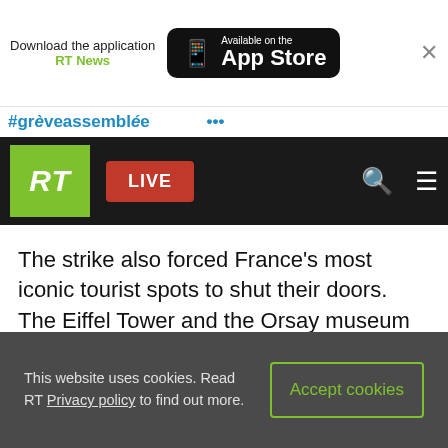[Figure (screenshot): App Store download banner with RT News label and App Store badge]
#grèveassemblée ... [hashtag scrolling bar]
[Figure (logo): RT logo with LIVE button and navigation icons on black bar]
The strike also forced France's most iconic tourist spots to shut their doors. The Eiffel Tower and the Orsay museum did not open on Thursday due to staff shortages, while the Louvre, the Pompidou Centre and other museums said some of its exhibits would not be available for viewing.
This website uses cookies. Read RT Privacy policy to find out more.